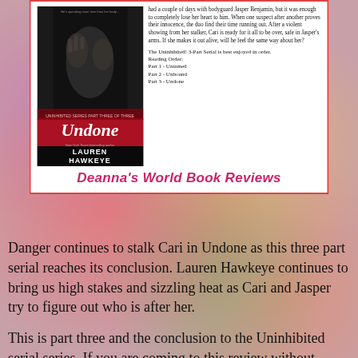[Figure (illustration): Book cover of 'Undone' by Lauren Hawkeye, part of the Uninhibited series, black and white image of a person, red banner with title text]
had a couple of days with bodyguard Jasper Benjamin, but it was enough to completely lose her heart to him. When one suspect after another proves their innocence, the duo find their time running out. After a violent showing from her stalker, Cari is ready for it all to be over, safe in Jasper's arms. If she makes it out alive, will he feel the same way about her?
The Uninhibited! 3-Part Serial is best enjoyed in order.
Reading Order:
Part 1 - Untamed
Part 2 - Unbound
Part 3 - Undone
Deanna's World Book Reviews
Danger continues to stalk Cari in Undone as this three part serial reaches its conclusion. Lauren Hawkeye continues to bring us high stakes and sizzling heat as Cari and Jasper try to figure out who is after her.
This is part three and the conclusion to the Uninhibited serial series. If you are coming to this review without reading Untamed and Unbound, you want to go and read those two parts first. This series is best read in order.
I liked Cari and Jasper together as a couple. Aside from the